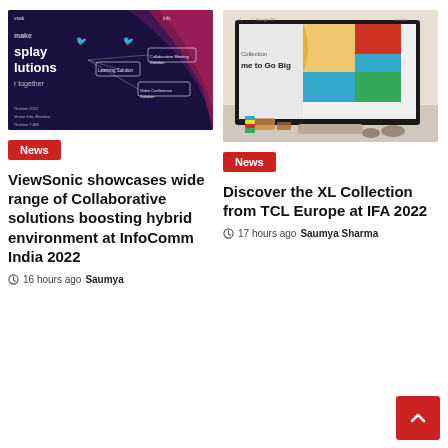[Figure (screenshot): ViewSonic display solutions promotional image on dark navy background with text and connected diagram]
[Figure (photo): TCL XL Collection TV with colorful abstract artwork on screen displayed on a modern stand]
News
News
ViewSonic showcases wide range of Collaborative solutions boosting hybrid environment at InfoComm India 2022
Discover the XL Collection from TCL Europe at IFA 2022
16 hours ago  Saumya
17 hours ago  Saumya Sharma